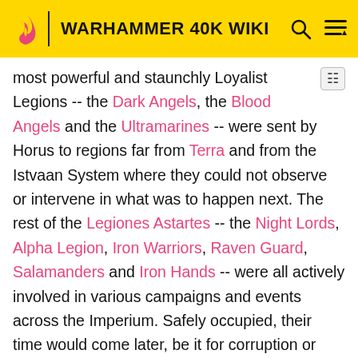WARHAMMER 40K WIKI
most powerful and staunchly Loyalist Legions -- the Dark Angels, the Blood Angels and the Ultramarines -- were sent by Horus to regions far from Terra and from the Istvaan System where they could not observe or intervene in what was to happen next. The rest of the Legiones Astartes -- the Night Lords, Alpha Legion, Iron Warriors, Raven Guard, Salamanders and Iron Hands -- were all actively involved in various campaigns and events across the Imperium. Safely occupied, their time would come later, be it for corruption or destruction. The Word Bearers were already long woven into the treachery that was to follow by ties that would not become apparent until much later. The White Scars and Imperial Fists were conducting operations in the Segmentum Solar and were too close to the Emperor for Horus to choose